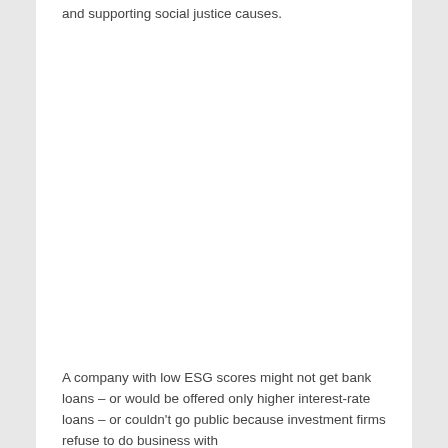and supporting social justice causes.
A company with low ESG scores might not get bank loans – or would be offered only higher interest-rate loans – or couldn't go public because investment firms refuse to do business with